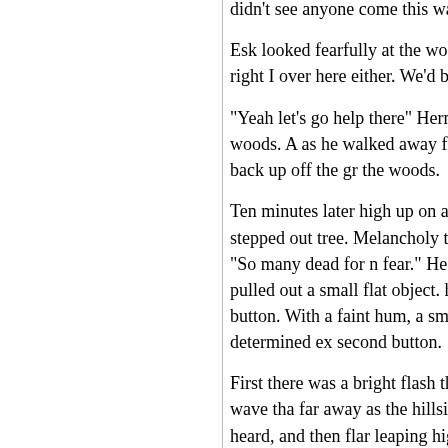didn't see anyone come this way.
Esk looked fearfully at the woods and the he slowly answered. "Yeah, you're right I over here either. We'd better move back t help there."
"Yeah let's go help there" Hernt said as h the hospital and away from the woods. A as he walked away from the woods. He c image of the kid getting back up off the gr the woods.
Ten minutes later high up on a hillside ov tall, thin man with white hair stepped out tree. Melancholy thoughts ran through his rolled down his face. "So many dead for n fear." He quietly murmured to himself. Sl pocket and pulled out a small flat object. he could see the two buttons on its front, button. With a faint hum, a small antenna top. Then, with a cold and determined ex second button.
First there was a bright flash that reflected the clouds, followed by a shock wave tha far away as the hillside. In the distance th growing fire could be heard, and then flar leaping high over the blasted remains of t
With the records destroyed and most of th